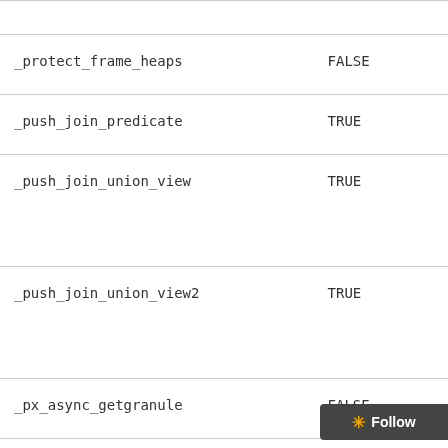| Parameter | Value |
| --- | --- |
| _protect_frame_heaps | FALSE |
| _push_join_predicate | TRUE |
| _push_join_union_view | TRUE |
| _push_join_union_view2 | TRUE |
| _px_async_getgranule | FALSE |
| _px_bind_peek_sharing | TRUE |
| _px_broadcast_fudge_factor | 10 |